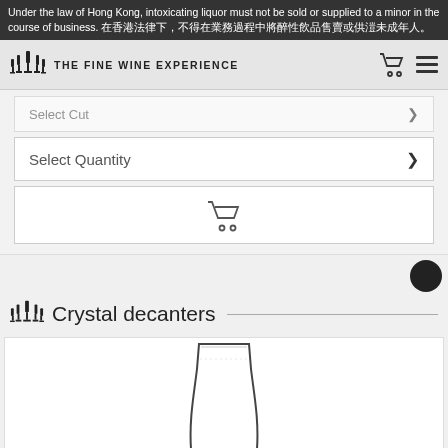Under the law of Hong Kong, intoxicating liquor must not be sold or supplied to a minor in the course of business. 在香港法律下，不得在業务过程中將醉性飲品售賣或供滝未成年人。
THE FINE WINE EXPERIENCE
Select Cut
Select Quantity
Crystal decanters
[Figure (photo): A crystal decanter — transparent glass vessel with straight sides, wider at the top and narrowing at the base, shown partially cropped at bottom of page.]